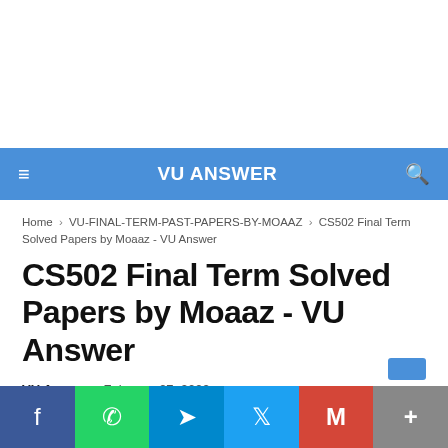VU ANSWER
Home > VU-FINAL-TERM-PAST-PAPERS-BY-MOAAZ > CS502 Final Term Solved Papers by Moaaz - VU Answer
CS502 Final Term Solved Papers by Moaaz - VU Answer
VU Answer  -  February 27, 2022